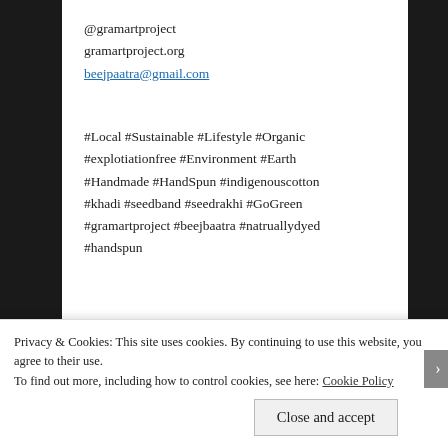@gramartproject
gramartproject.org
beejpaatra@gmail.com
#Local #Sustainable #Lifestyle #Organic #explotiationfree #Environment #Earth #Handmade #HandSpun #indigenouscotton #khadi #seedband #seedrakhi #GoGreen #gramartproject #beejbaatra #natruallydyed #handspun
Reply
Privacy & Cookies: This site uses cookies. By continuing to use this website, you agree to their use.
To find out more, including how to control cookies, see here: Cookie Policy
Close and accept